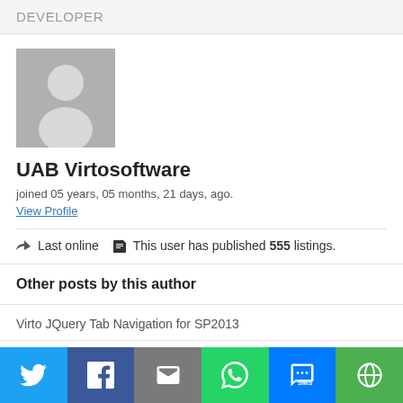DEVELOPER
[Figure (illustration): Generic user avatar placeholder - grey square with white silhouette of a person]
UAB Virtosoftware
joined 05 years, 05 months, 21 days, ago.
View Profile
Last online  This user has published 555 listings.
Other posts by this author
Virto JQuery Tab Navigation for SP2013